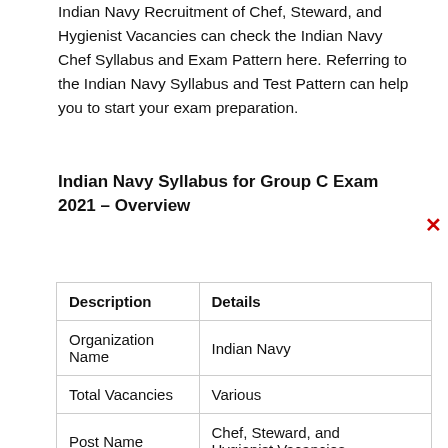Indian Navy Recruitment of Chef, Steward, and Hygienist Vacancies can check the Indian Navy Chef Syllabus and Exam Pattern here. Referring to the Indian Navy Syllabus and Test Pattern can help you to start your exam preparation.
Indian Navy Syllabus for Group C Exam 2021 – Overview
| Description | Details |
| --- | --- |
| Organization Name | Indian Navy |
| Total Vacancies | Various |
| Post Name | Chef, Steward, and Hygienist Vacancies |